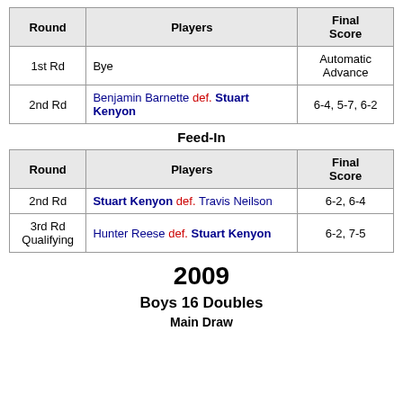| Round | Players | Final Score |
| --- | --- | --- |
| 1st Rd | Bye | Automatic Advance |
| 2nd Rd | Benjamin Barnette def. Stuart Kenyon | 6-4, 5-7, 6-2 |
Feed-In
| Round | Players | Final Score |
| --- | --- | --- |
| 2nd Rd | Stuart Kenyon def. Travis Neilson | 6-2, 6-4 |
| 3rd Rd Qualifying | Hunter Reese def. Stuart Kenyon | 6-2, 7-5 |
2009
Boys 16 Doubles
Main Draw